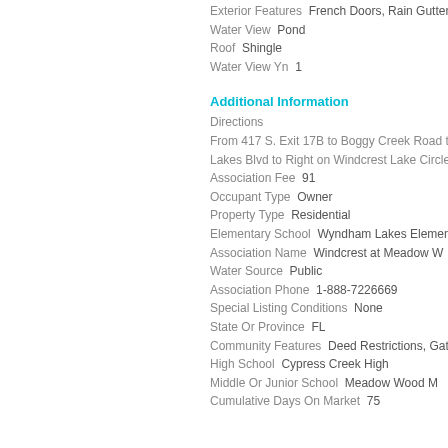Exterior Features  French Doors, Rain Gutters
Water View  Pond
Roof  Shingle
Water View Yn  1
Additional Information
Directions
From 417 S. Exit 17B to Boggy Creek Road to Lakes Blvd to Right on Windcrest Lake Circle
Association Fee  91
Occupant Type  Owner
Property Type  Residential
Elementary School  Wyndham Lakes Element…
Association Name  Windcrest at Meadow W…
Water Source  Public
Association Phone  1-888-7226669
Special Listing Conditions  None
State Or Province  FL
Community Features  Deed Restrictions, Gate…
High School  Cypress Creek High
Middle Or Junior School  Meadow Wood M…
Cumulative Days On Market  75